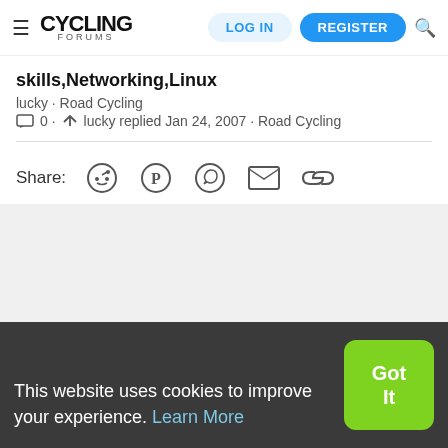Cycling Forums | LOG IN | REGISTER
skills,Networking,Linux
lucky · Road Cycling
0 · lucky replied Jan 24, 2007 · Road Cycling
Share:
Contact us  Terms and rules  Privacy policy  Help  Home
This website uses cookies to improve your experience. Learn More  Got It